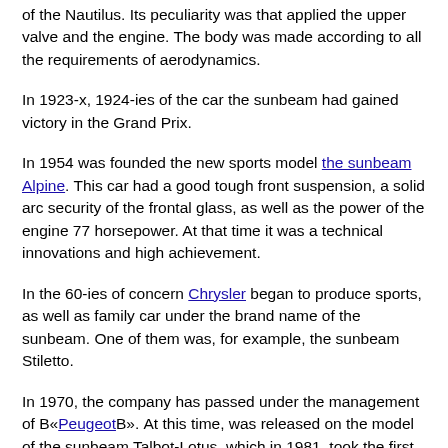of the Nautilus. Its peculiarity was that applied the upper valve and the engine. The body was made according to all the requirements of aerodynamics.
In 1923-x, 1924-ies of the car the sunbeam had gained victory in the Grand Prix.
In 1954 was founded the new sports model the sunbeam Alpine. This car had a good tough front suspension, a solid arc security of the frontal glass, as well as the power of the engine 77 horsepower. At that time it was a technical innovations and high achievement.
In the 60-ies of concern Chrysler began to produce sports, as well as family car under the brand name of the sunbeam. One of them was, for example, the sunbeam Stiletto.
In 1970, the company has passed under the management of В«PeugeotВ». At this time, was released on the model of the sunbeam Talbot-Lotus, which in 1981, took the first place in the championship rally.